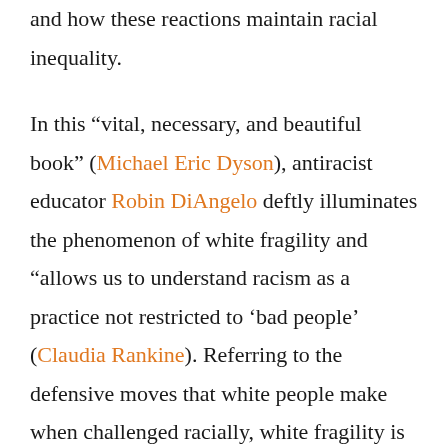and how these reactions maintain racial inequality.

In this “vital, necessary, and beautiful book” (Michael Eric Dyson), antiracist educator Robin DiAngelo deftly illuminates the phenomenon of white fragility and “allows us to understand racism as a practice not restricted to ‘bad people’ (Claudia Rankine). Referring to the defensive moves that white people make when challenged racially, white fragility is characterized by emotions such as anger, fear, and guilt, and by behaviors including argumentation and silence. These behaviors, in turn, function to reinstate